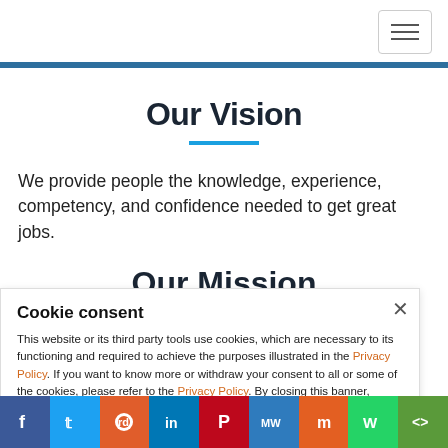Navigation bar with hamburger menu button
Our Vision
We provide people the knowledge, experience, competency, and confidence needed to get great jobs.
Our Mission
Cookie consent
This website or its third party tools use cookies, which are necessary to its functioning and required to achieve the purposes illustrated in the Privacy Policy. If you want to know more or withdraw your consent to all or some of the cookies, please refer to the Privacy Policy. By closing this banner, scrolling this page, clicking a link or
Facebook Twitter Reddit LinkedIn Pinterest MeWe Mix WhatsApp Share